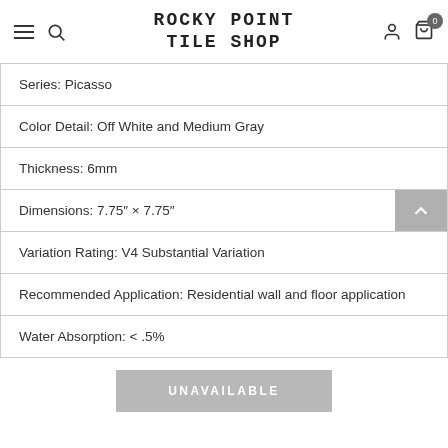ROCKY POINT TILE SHOP
| Series: Picasso |
| Color Detail: Off White and Medium Gray |
| Thickness: 6mm |
| Dimensions: 7.75" × 7.75" |
| Variation Rating: V4 Substantial Variation |
| Recommended Application: Residential wall and floor application |
| Water Absorption: < .5% |
UNAVAILABLE